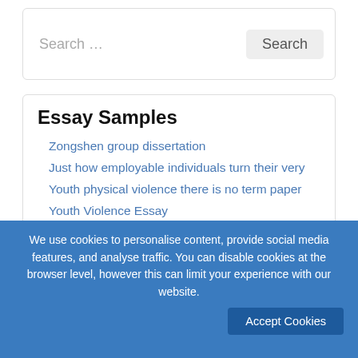Search …
Essay Samples
Zongshen group dissertation
Just how employable individuals turn their very
Youth physical violence there is no term paper
Youth Violence Essay
Zinn section 4 dissertation
Pete and dave felony law composition
Zodiac speaking into the head term newspaper
We use cookies to personalise content, provide social media features, and analyse traffic. You can disable cookies at the browser level, however this can limit your experience with our website.